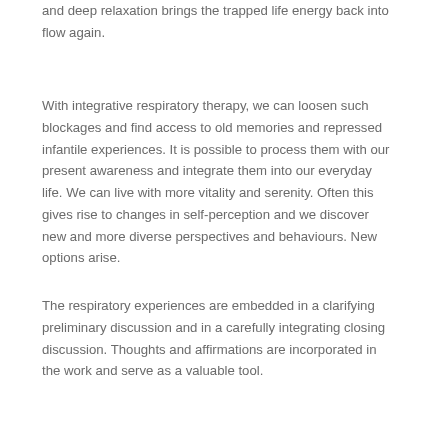and deep relaxation brings the trapped life energy back into flow again.
With integrative respiratory therapy, we can loosen such blockages and find access to old memories and repressed infantile experiences. It is possible to process them with our present awareness and integrate them into our everyday life. We can live with more vitality and serenity. Often this gives rise to changes in self-perception and we discover new and more diverse perspectives and behaviours. New options arise.
The respiratory experiences are embedded in a clarifying preliminary discussion and in a carefully integrating closing discussion. Thoughts and affirmations are incorporated in the work and serve as a valuable tool.